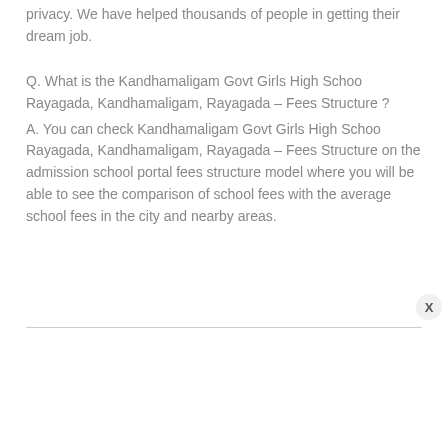privacy. We have helped thousands of people in getting their dream job.
Q. What is the Kandhamaligam Govt Girls High Schoo Rayagada, Kandhamaligam, Rayagada – Fees Structure ?
A. You can check Kandhamaligam Govt Girls High Schoo Rayagada, Kandhamaligam, Rayagada – Fees Structure on the admission school portal fees structure model where you will be able to see the comparison of school fees with the average school fees in the city and nearby areas.